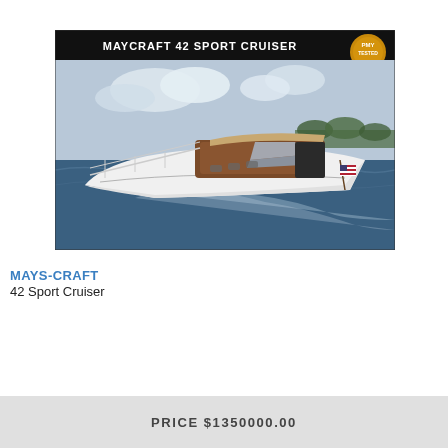[Figure (photo): Maycraft 42 Sport Cruiser boat on water with 'PMY TESTED' badge, black header bar reading 'MAYCRAFT 42 SPORT CRUISER']
MAYS-CRAFT
42 Sport Cruiser
PRICE $1350000.00